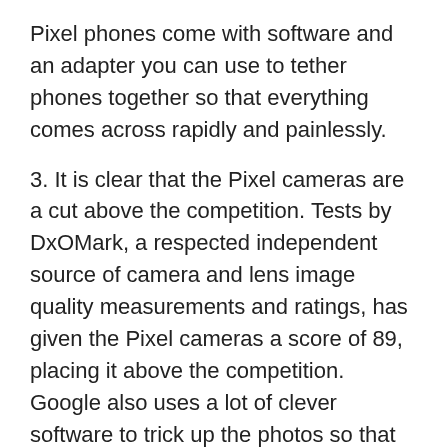Pixel phones come with software and an adapter you can use to tether phones together so that everything comes across rapidly and painlessly.
3. It is clear that the Pixel cameras are a cut above the competition. Tests by DxOMark, a respected independent source of camera and lens image quality measurements and ratings, has given the Pixel cameras a score of 89, placing it above the competition. Google also uses a lot of clever software to trick up the photos so that they look like they were shot with a proper single lens reflex camera.
4. The Pixels are the first to support Google's Daydream virtual reality (VR) platform. I don't think this can be underestimated as a selling point. Yes, it's early days, but turning your phone into a VR projector — once coupled with the $119 Daydream View goggles — will bring new uses to